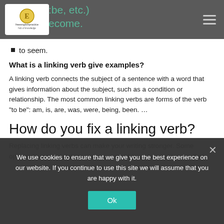freeenglishpractice (logo) | hamburger menu
to seem.
What is a linking verb give examples?
A linking verb connects the subject of a sentence with a word that gives information about the subject, such as a condition or relationship. The most common linking verbs are forms of the verb “to be”: am, is, are, was, were, being, been. …
How do you fix a linking verb?
Replacing linking verbs can make your writing stronger. Some options to replace linking verbs are combining two sentences that
We use cookies to ensure that we give you the best experience on our website. If you continue to use this site we will assume that you are happy with it.